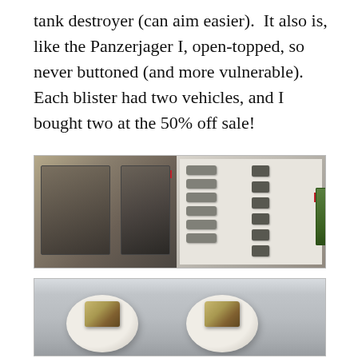tank destroyer (can aim easier).  It also is, like the Panzerjager I, open-topped, so never buttoned (and more vulnerable).  Each blister had two vehicles, and I bought two at the 50% off sale!
[Figure (photo): Two photos side by side: left photo shows two Flames of War blister packs containing tank destroyer miniatures; right photo shows the miniature components laid out plus two more Flames of War blister packs]
[Figure (photo): Photo of two white plates on a table, each holding a small unpainted tank destroyer miniature being assembled or prepared for painting]